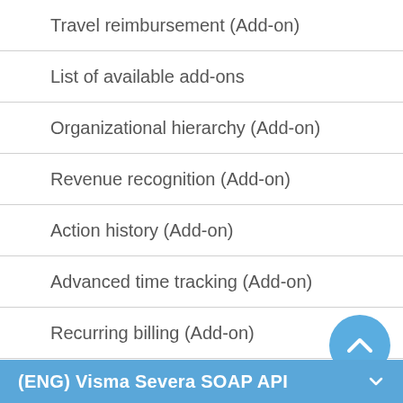Travel reimbursement (Add-on)
List of available add-ons
Organizational hierarchy (Add-on)
Revenue recognition (Add-on)
Action history (Add-on)
Advanced time tracking (Add-on)
Recurring billing (Add-on)
Activity management (Add-on)
Multi-currency (Add-on)
(ENG) Visma Severa SOAP API